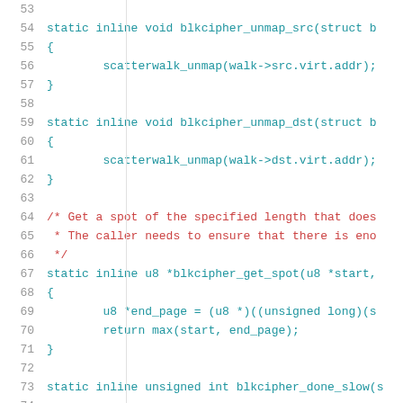[Figure (screenshot): Source code listing showing lines 53-74 of a C file with syntax highlighting. Lines show blkcipher_unmap_src, blkcipher_unmap_dst, blkcipher_get_spot, and blkcipher_done_slow functions.]